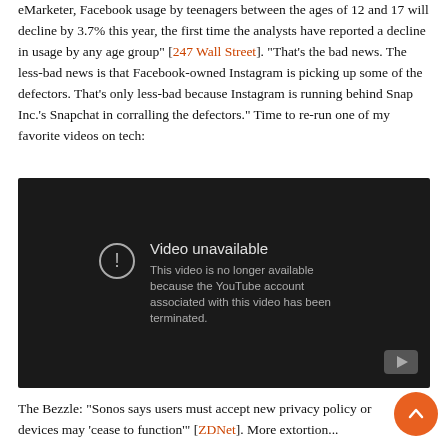eMarketer, Facebook usage by teenagers between the ages of 12 and 17 will decline by 3.7% this year, the first time the analysts have reported a decline in usage by any age group" [247 Wall Street]. "That's the bad news. The less-bad news is that Facebook-owned Instagram is picking up some of the defectors. That's only less-bad because Instagram is running behind Snap Inc.'s Snapchat in corralling the defectors." Time to re-run one of my favorite videos on tech:
[Figure (screenshot): YouTube embedded video player showing 'Video unavailable' error message. Dark background with exclamation icon and text: 'This video is no longer available because the YouTube account associated with this video has been terminated.']
The Bezzle: "Sonos says users must accept new privacy policy or devices may 'cease to function'" [ZDNet]. More extortion...